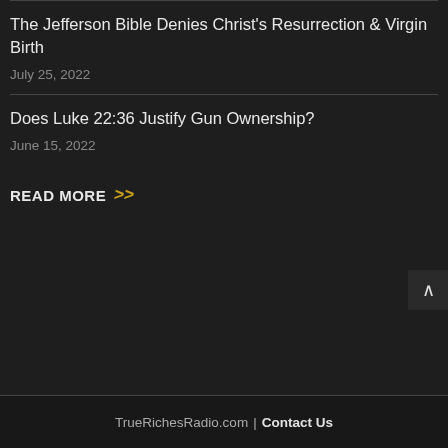The Jefferson Bible Denies Christ's Resurrection & Virgin Birth
July 25, 2022
Does Luke 22:36 Justify Gun Ownership?
June 15, 2022
READ MORE >>
TrueRichesRadio.com | Contact Us